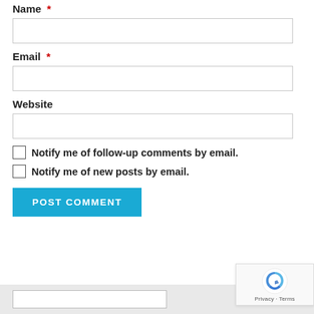Name *
[Figure (screenshot): Empty text input field for Name]
Email *
[Figure (screenshot): Empty text input field for Email]
Website
[Figure (screenshot): Empty text input field for Website]
Notify me of follow-up comments by email.
Notify me of new posts by email.
POST COMMENT
[Figure (screenshot): reCAPTCHA badge with logo and Privacy - Terms text]